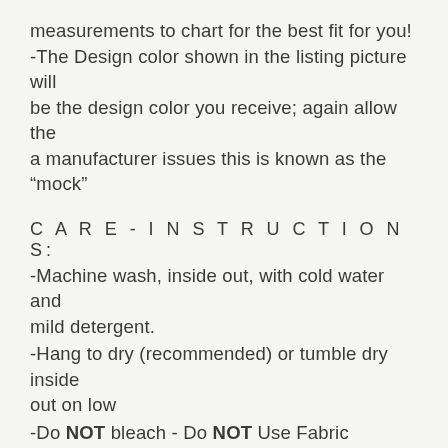measurements to chart for the best fit for you! -The Design color shown in the listing picture will be the design color you receive; again allow the a manufacturer issues this is known as the "mock"
C A R E - I N S T R U C T I O N S:
-Machine wash, inside out, with cold water and mild detergent.
-Hang to dry (recommended) or tumble dry inside out on low
-Do NOT bleach - Do NOT Use Fabric Softener – Do NOT iron directly on design
R E T U R N S / E X C H A N G E S / C A N C E L L A T I O N S